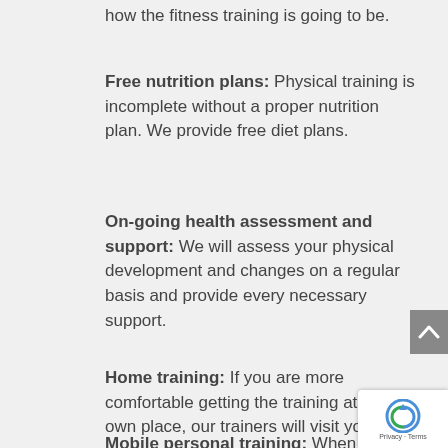how the fitness training is going to be.
Free nutrition plans: Physical training is incomplete without a proper nutrition plan. We provide free diet plans.
On-going health assessment and support: We will assess your physical development and changes on a regular basis and provide every necessary support.
Home training: If you are more comfortable getting the training at your own place, our trainers will visit you.
Mobile personal training: When you hire